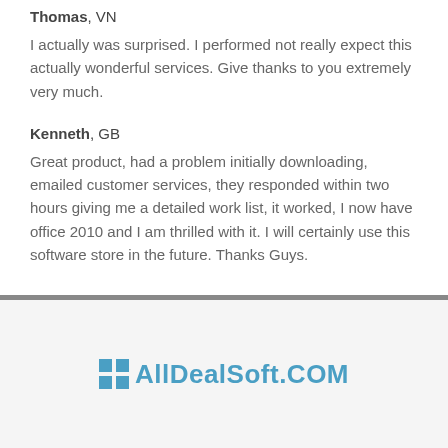Thomas, VN
I actually was surprised. I performed not really expect this actually wonderful services. Give thanks to you extremely very much.
Kenneth, GB
Great product, had a problem initially downloading, emailed customer services, they responded within two hours giving me a detailed work list, it worked, I now have office 2010 and I am thrilled with it. I will certainly use this software store in the future. Thanks Guys.
AllDealSoft.COM